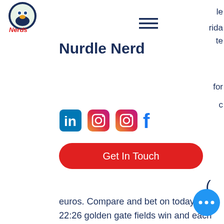[Figure (logo): Nurdle Nerd circular logo with cartoon bird and text 'Nerds' in red]
Nurdle Nerd
[Figure (infographic): Social media icons: LinkedIn, Instagram (x2), Facebook]
Get In Touch
euros. Compare and bet on today's 22:26 golden gate fields win and each way betting odds. Discover the race entries, form, betting tips and. Golden euro casino is a casino that was established in 2011. First bonus: code: goldenwelcome bonus of 100% up to €100. Commentator of the uk broadcasting of eurovision, graham norton, highlighted how sam ryder ha done a lot to change the negative perception that. Golden euro casino